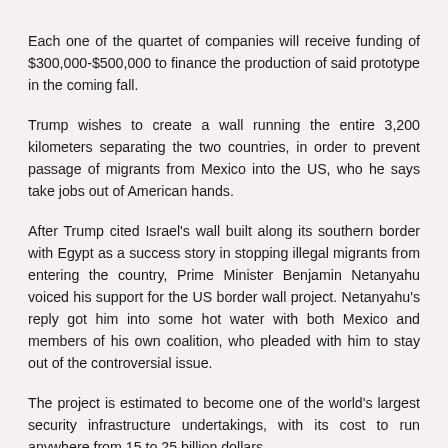Each one of the quartet of companies will receive funding of $300,000-$500,000 to finance the production of said prototype in the coming fall.
Trump wishes to create a wall running the entire 3,200 kilometers separating the two countries, in order to prevent passage of migrants from Mexico into the US, who he says take jobs out of American hands.
After Trump cited Israel's wall built along its southern border with Egypt as a success story in stopping illegal migrants from entering the country, Prime Minister Benjamin Netanyahu voiced his support for the US border wall project. Netanyahu's reply got him into some hot water with both Mexico and members of his own coalition, who pleaded with him to stay out of the controversial issue.
The project is estimated to become one of the world's largest security infrastructure undertakings, with its cost to run anywhere from 15 to 25 billion dollars.